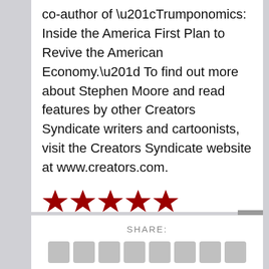co-author of “Trumponomics: Inside the America First Plan to Revive the American Economy.” To find out more about Stephen Moore and read features by other Creators Syndicate writers and cartoonists, visit the Creators Syndicate website at www.creators.com.
[Figure (other): Five red filled stars representing a rating]
Rating: 5.0/5. From 19 votes.
SHARE: